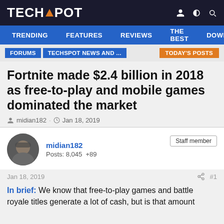TECHSPOT
TRENDING  FEATURES  REVIEWS  THE BEST  DOWNLC
FORUMS  TECHSPOT NEWS AND ...  TODAY'S POSTS
Fortnite made $2.4 billion in 2018 as free-to-play and mobile games dominated the market
midian182 · Jan 18, 2019
midian182
Posts: 8,045  +89
Staff member
Jan 18, 2019  #1
In brief: We know that free-to-play games and battle royale titles generate a lot of cash, but is that amount